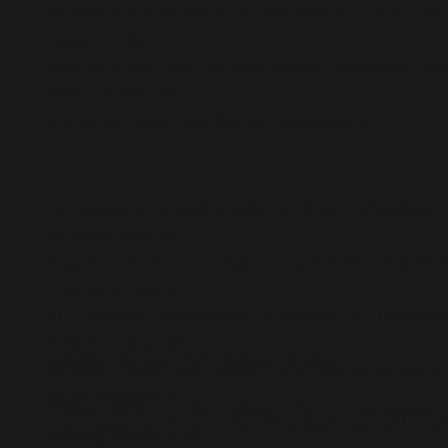by drones will be stolen or manipulated in real time. Industries that le more efficient, such as construction, agriculture and border control, wi as attackers' spoof and disrupt transmissions.
Technological breakthroughs in drone technologies, combined with de data, the Internet of Things (IoT), and the relaxation of aviation regula will become increasingly important to operating models. Organization delivery, monitoring, imagery and law enforcement, whilst attackers w new weapon of choice. The threat landscape will take to the skies.
Justification for This Threat: Predator
Drones used in the military for reconnaissance, targeted missile attac intelligence have been commonplace for years now. However, the lin civilian usage has somewhat blurred over the last few years as smalle vehicles or quadcopters have become more popular and commercially reported more frequently in the media with cases of assassination att injuries and spying all being recorded. Moreover, two high-profile inci flights at London's Gatwick and Heathrow airports took place in late D